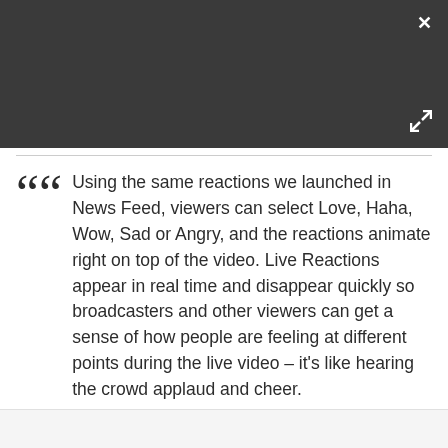[Figure (screenshot): Dark gray header bar with a white X close button in the top-right corner and a white expand/fullscreen icon in the bottom-right area of the header.]
Using the same reactions we launched in News Feed, viewers can select Love, Haha, Wow, Sad or Angry, and the reactions animate right on top of the video. Live Reactions appear in real time and disappear quickly so broadcasters and other viewers can get a sense of how people are feeling at different points during the live video – it's like hearing the crowd applaud and cheer.